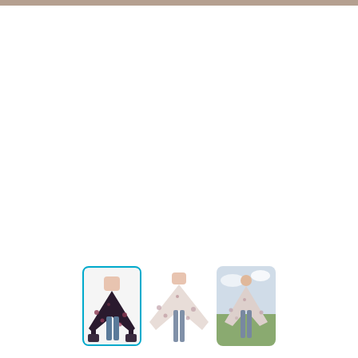[Figure (photo): E-commerce product page showing thumbnail images of women's fashion wrap/poncho. Three thumbnail images shown at the bottom: first thumbnail selected (blue border) showing a woman holding a dark floral wrap/poncho, second thumbnail showing a woman wearing a light-colored floral wrap, third thumbnail showing a woman outdoors wearing a light floral wrap/shawl.]